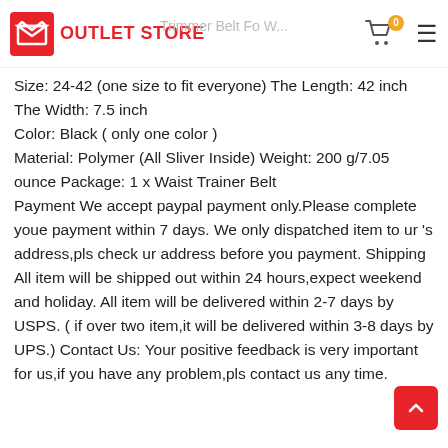OUTLET STORE
Size: 24-42 (one size to fit everyone) The Length: 42 inch The Width: 7.5 inch
Color: Black ( only one color )
Material: Polymer (All Sliver Inside) Weight: 200 g/7.05 ounce Package: 1 x Waist Trainer Belt
Payment We accept paypal payment only.Please complete youe payment within 7 days. We only dispatched item to ur 's address,pls check ur address before you payment. Shipping All item will be shipped out within 24 hours,expect weekend and holiday. All item will be delivered within 2-7 days by USPS. ( if over two item,it will be delivered within 3-8 days by UPS.) Contact Us: Your positive feedback is very important for us,if you have any problem,pls contact us any time.